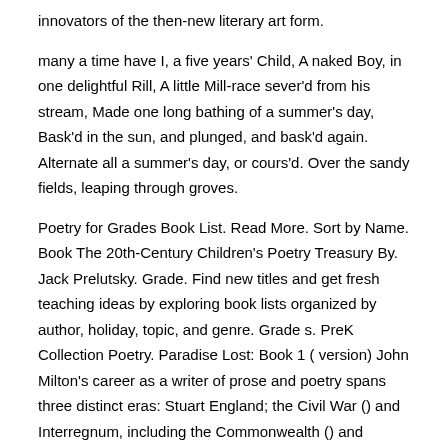innovators of the then-new literary art form.
many a time have I, a five years' Child, A naked Boy, in one delightful Rill, A little Mill-race sever'd from his stream, Made one long bathing of a summer's day, Bask'd in the sun, and plunged, and bask'd again. Alternate all a summer's day, or cours'd. Over the sandy fields, leaping through groves.
Poetry for Grades Book List. Read More. Sort by Name. Book The 20th-Century Children's Poetry Treasury By. Jack Prelutsky. Grade. Find new titles and get fresh teaching ideas by exploring book lists organized by author, holiday, topic, and genre. Grade s. PreK Collection Poetry. Paradise Lost: Book 1 ( version) John Milton’s career as a writer of prose and poetry spans three distinct eras: Stuart England; the Civil War () and Interregnum, including the Commonwealth () and Protectorate (); and the Restoration.
Milton’s chief polemical prose was written in the decades of the s. Examples Of Narrative Poems. Published: July 51 Narrative Poems - Poems That Tell A Story. Narrative poems are stories in poem form.